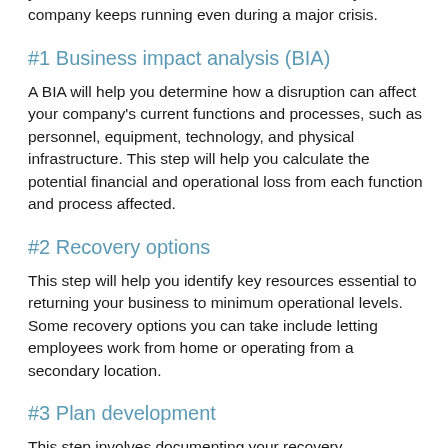you formulate an effective BCP that will ensure your company keeps running even during a major crisis.
#1 Business impact analysis (BIA)
A BIA will help you determine how a disruption can affect your company's current functions and processes, such as personnel, equipment, technology, and physical infrastructure. This step will help you calculate the potential financial and operational loss from each function and process affected.
#2 Recovery options
This step will help you identify key resources essential to returning your business to minimum operational levels. Some recovery options you can take include letting employees work from home or operating from a secondary location.
#3 Plan development
This step involves documenting your recovery procedures and actions...